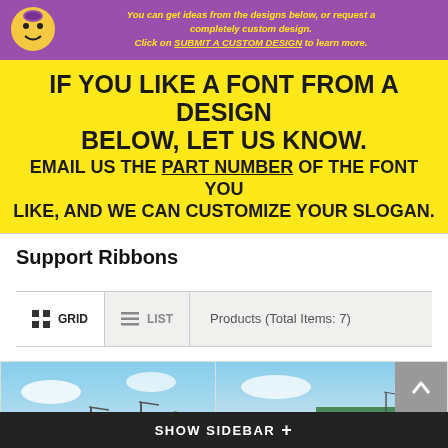[Figure (illustration): Purple banner with mascot character and italic yellow text: 'You can get ideas from the designs below, or request a completely custom design. Click on SUBMIT A CUSTOM DESIGN to learn more.']
IF YOU LIKE A FONT FROM A DESIGN BELOW, LET US KNOW. EMAIL US THE PART NUMBER OF THE FONT YOU LIKE, AND WE CAN CUSTOMIZE YOUR SLOGAN.
Support Ribbons
Products (Total Items: 7)
[Figure (photo): Two product thumbnail images showing outdoor sports field scenes with light poles against a sky background. Right image shows a building. Ribbon/awareness ribbon overlays visible on right image.]